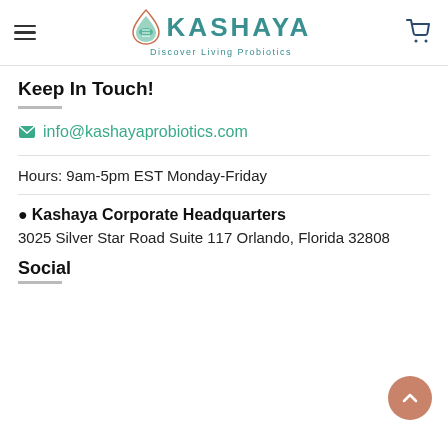KASHAYA — Discover Living Probiotics — navigation header with hamburger menu and cart icon
Keep In Touch!
info@kashayaprobiotics.com
Hours: 9am-5pm EST Monday-Friday
Kashaya Corporate Headquarters
3025 Silver Star Road Suite 117 Orlando, Florida 32808
Social